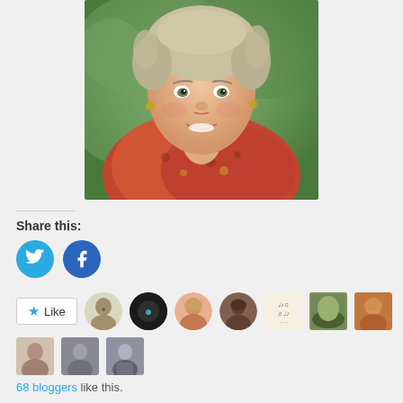[Figure (photo): Portrait photo of a smiling middle-aged woman with short gray-blonde hair, wearing a red floral scarf/shawl and earrings, with green foliage background]
Share this:
[Figure (infographic): Twitter and Facebook share buttons (circular blue icons)]
[Figure (infographic): WordPress Like button with star icon and a row of 9 blogger avatar thumbnails]
68 bloggers like this.